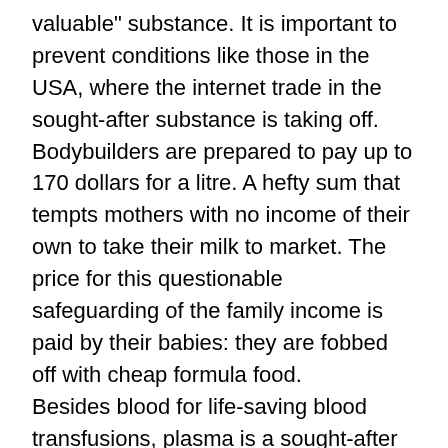valuable" substance. It is important to prevent conditions like those in the USA, where the internet trade in the sought-after substance is taking off. Bodybuilders are prepared to pay up to 170 dollars for a litre. A hefty sum that tempts mothers with no income of their own to take their milk to market. The price for this questionable safeguarding of the family income is paid by their babies: they are fobbed off with cheap formula food. Besides blood for life-saving blood transfusions, plasma is a sought-after raw material from human bodies. In order for Karin Modl to survive despite her severe